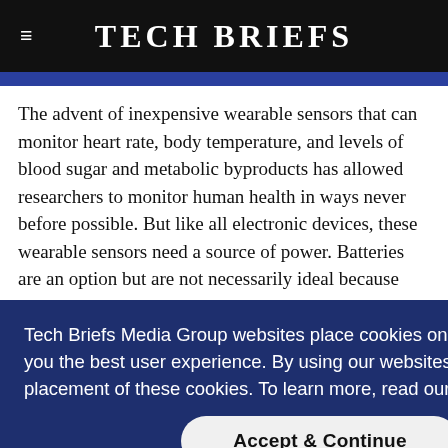Tech Briefs
The advent of inexpensive wearable sensors that can monitor heart rate, body temperature, and levels of blood sugar and metabolic byproducts has allowed researchers to monitor human health in ways never before possible. But like all electronic devices, these wearable sensors need a source of power. Batteries are an option but are not necessarily ideal because they can be
Tech Briefs Media Group websites place cookies on your device to give you the best user experience. By using our websites, you agree to the placement of these cookies. To learn more, read our Privacy Policy.
Accept & Continue
[Figure (photo): Bottom portion of page showing a dark background with gold metallic striped material, partially visible]